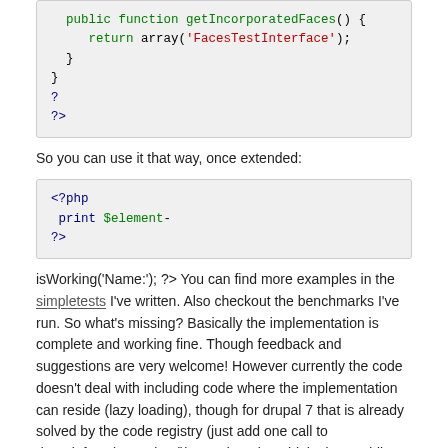[Figure (screenshot): Code block showing PHP: public function getIncorporatedFaces() { return array('FacesTestInterface'); } } ? ?>]
So you can use it that way, once extended:
[Figure (screenshot): Code block showing PHP: <?php print $element- ?>]
isWorking('Name:'); ?> You can find more examples in the simpletests I've written. Also checkout the benchmarks I've run. So what's missing? Basically the implementation is complete and working fine. Though feedback and suggestions are very welcome! However currently the code doesn't deal with including code where the implementation can reside (lazy loading), though for drupal 7 that is already solved by the code registry (just add one call to drupal_function_exists()). For drupal 6 I think about adding the possibility to specify include files per added interface.